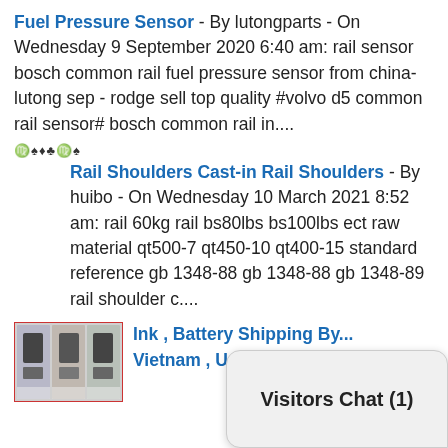Fuel Pressure Sensor - By lutongparts - On Wednesday 9 September 2020 6:40 am: rail sensor bosch common rail fuel pressure sensor from china-lutong sep - rodge sell top quality #volvo d5 common rail sensor# bosch common rail in....
[Figure (other): Small icon row with symbols/characters]
Rail Shoulders Cast-in Rail Shoulders - By huibo - On Wednesday 10 March 2021 8:52 am: rail 60kg rail bs80lbs bs100lbs ect raw material qt500-7 qt450-10 qt400-15 standard reference gb 1348-88 gb 1348-88 gb 1348-89 rail shoulder c....
[Figure (photo): Thumbnail image with red border showing product photos]
Ink , Battery Shipping By... Vietnam , Usa - By Sayhi0307 -...
Visitors Chat (1)